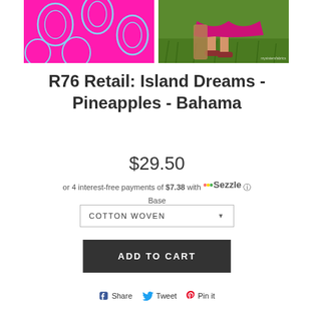[Figure (photo): Pink fabric with pineapple pattern on the left and a photo of someone wearing the fabric on the right]
R76 Retail: Island Dreams - Pineapples - Bahama
$29.50
or 4 interest-free payments of $7.38 with Sezzle ⓘ Base
COTTON WOVEN
ADD TO CART
Share  Tweet  Pin it